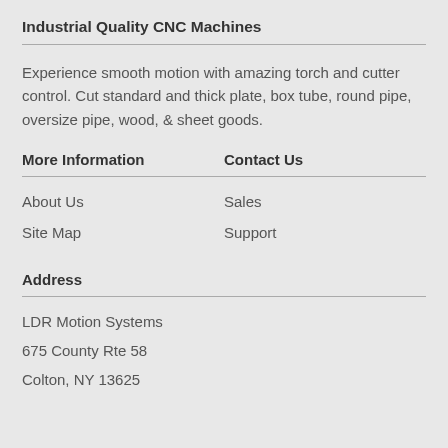Industrial Quality CNC Machines
Experience smooth motion with amazing torch and cutter control. Cut standard and thick plate, box tube, round pipe, oversize pipe, wood, & sheet goods.
More Information
About Us
Site Map
Contact Us
Sales
Support
Address
LDR Motion Systems
675 County Rte 58
Colton, NY 13625